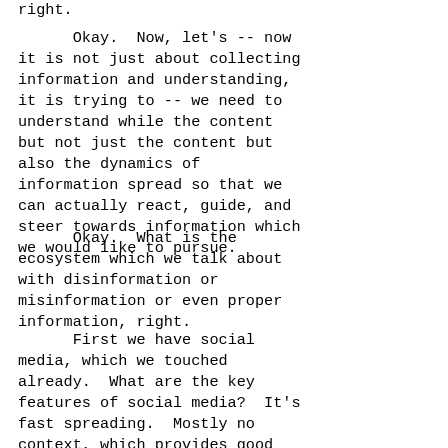right.
Okay.  Now, let's -- now it is not just about collecting information and understanding, it is trying to -- we need to understand while the content but not just the content but also the dynamics of information spread so that we can actually react, guide, and steer towards information which we would like to pursue.
Okay.  What is the ecosystem which we talk about with disinformation or misinformation or even proper information, right.
First we have social media, which we touched already.  What are the key features of social media?  It's fast spreading.  Mostly no context, which provides good ground for manipulation,